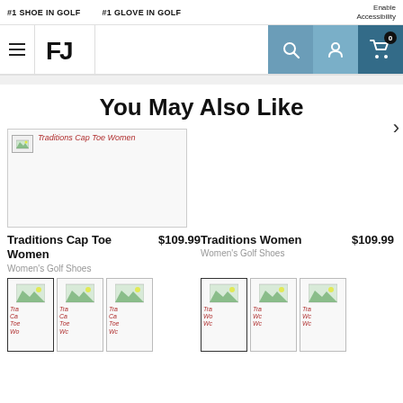#1 SHOE IN GOLF   #1 GLOVE IN GOLF   Enable Accessibility
[Figure (logo): FootJoy FJ logo with hamburger menu and navigation icons (search, account, cart with 0 items)]
You May Also Like
[Figure (photo): Broken image placeholder for Traditions Cap Toe Women shoe]
Traditions Cap Toe Women  $109.99
Women's Golf Shoes
Traditions Women  $109.99
Women's Golf Shoes
[Figure (photo): Thumbnail images for Traditions Cap Toe Women (3 color variants)]
[Figure (photo): Thumbnail images for Traditions Women (3 color variants)]